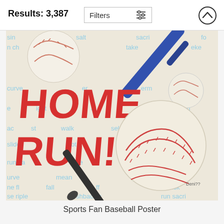Results: 3,387
Filters
[Figure (illustration): Sports Fan Baseball Poster illustration showing baseballs, a baseball bat, and large red text reading HOME RUN! on a distressed white background with light blue baseball words/terms scattered throughout]
Sports Fan Baseball Poster